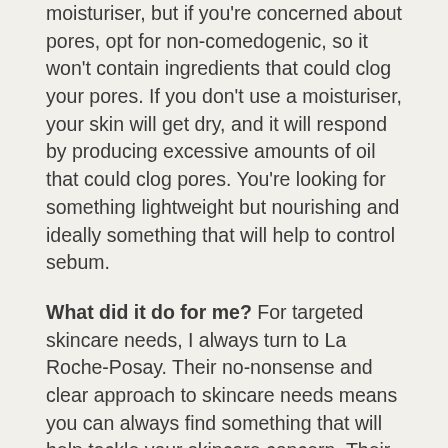moisturiser, but if you're concerned about pores, opt for non-comedogenic, so it won't contain ingredients that could clog your pores. If you don't use a moisturiser, your skin will get dry, and it will respond by producing excessive amounts of oil that could clog pores. You're looking for something lightweight but nourishing and ideally something that will help to control sebum.
What did it do for me? For targeted skincare needs, I always turn to La Roche-Posay. Their no-nonsense and clear approach to skincare needs means you can always find something that will help tackle your skincare concern. Their Effaclar Mat moisturiser is the perfect choice for enlarged pores.
The light gel texture cream has a fresh scent and absorbs quickly into the skin, leaving it soft with a subtle matte effect that has made my pores look less prominent